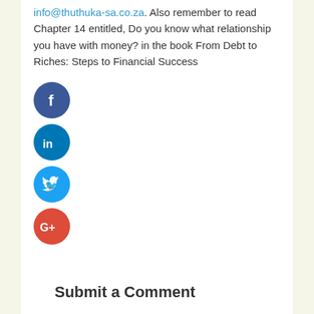info@thuthuka-sa.co.za. Also remember to read Chapter 14 entitled, Do you know what relationship you have with money? in the book From Debt to Riches: Steps to Financial Success
[Figure (infographic): Four social media share buttons arranged vertically: Facebook (dark blue circle with 'f'), LinkedIn (blue circle with 'in'), Twitter (light blue circle with bird icon), Google+ (red circle with 'G+')]
Submit a Comment